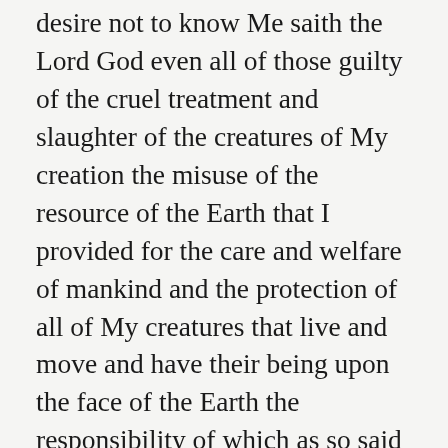desire not to know Me saith the Lord God even all of those guilty of the cruel treatment and slaughter of the creatures of My creation the misuse of the resource of the Earth that I provided for the care and welfare of mankind and the protection of all of My creatures that live and move and have their being upon the face of the Earth the responsibility of which as so said afore was given unto all mankind and their descendants to care for and protect all of the creatures of My creation even until the end of days of which mankind hath most wickedly failed in the execution of their God given duty and responsibility towards